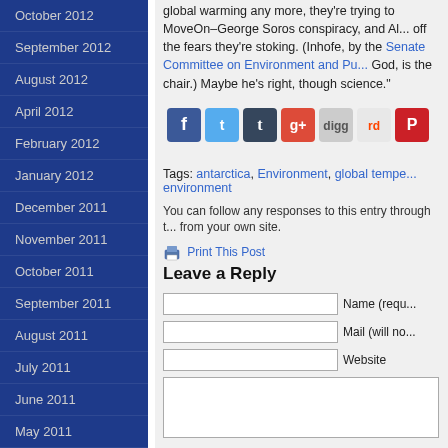October 2012
September 2012
August 2012
April 2012
February 2012
January 2012
December 2011
November 2011
October 2011
September 2011
August 2011
July 2011
June 2011
May 2011
April 2011
March 2011
February 2011
January 2011
global warming any more, they're trying to MoveOn–George Soros conspiracy, and A... off the fears they're stoking. (Inhofe, by the Senate Committee on Environment and Pu... God, is the chair.) Maybe he's right, though science."
[Figure (infographic): Social sharing icons: Facebook, Twitter, Tumblr, Google+, Digg, Reddit, Pinterest]
Tags: antarctica, Environment, global tempe... environment
You can follow any responses to this entry through t... from your own site.
Print This Post
Leave a Reply
Name (requ...
Mail (will no...
Website